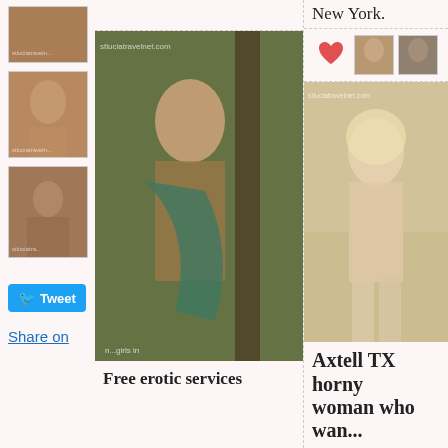[Figure (photo): Thumbnail photo 1 - partial nude figure]
[Figure (photo): Thumbnail photo 2 - nude figure from behind]
[Figure (photo): Thumbnail photo 3 - seated nude figure]
Tweet
Share on
New York.
[Figure (photo): Small icon thumbnails row with heart icon]
[Figure (photo): Large center photo - dark haired woman with green wrap, watermarked stluciatravelnet.com]
Free erotic services
[Figure (photo): Large right photo - blonde woman seated, watermarked stluciatravelnet.com, caption: new g_tavia sel...]
Axtell TX horny
woman who wan...